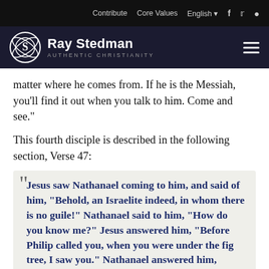Contribute  Core Values  English  f  Twitter  Search
Ray Stedman AUTHENTIC CHRISTIANITY
matter where he comes from. If he is the Messiah, you'll find it out when you talk to him. Come and see."
This fourth disciple is described in the following section, Verse 47:
Jesus saw Nathanael coming to him, and said of him, "Behold, an Israelite indeed, in whom there is no guile!" Nathanael said to him, "How do you know me?" Jesus answered him, "Before Philip called you, when you were under the fig tree, I saw you." Nathanael answered him, "Rabbi, you are..."